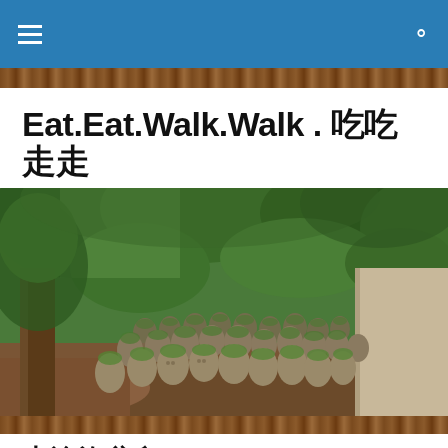Navigation bar with hamburger menu and search icon
Eat.Eat.Walk.Walk . 吃吃走走
Our little escapes all over the world…
[Figure (photo): A large group of small moss-covered stone Buddha (Rakan) statues in a Japanese garden, surrounded by green trees and foliage.]
大澳漁翁島 Tai Yuen Shark's Fin Seafood Restaurant @Lamma